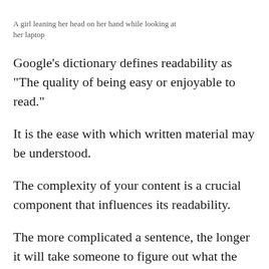A girl leaning her head on her hand while looking at her laptop
Google's dictionary defines readability as "The quality of being easy or enjoyable to read."
It is the ease with which written material may be understood.
The complexity of your content is a crucial component that influences its readability.
The more complicated a sentence, the longer it will take someone to figure out what the writer is attempting to communicate.
But it isn't all.
The use of headings, paragraphs, the length of your